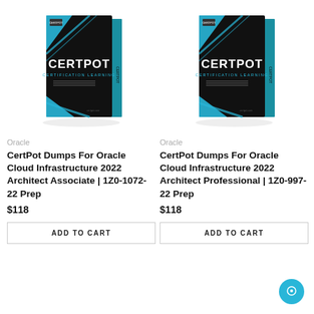[Figure (illustration): CertPot Certification Learning book cover - black with cyan/teal diagonal stripes and CERTPOT text, shown in 3D perspective. Left product image.]
Oracle
CertPot Dumps For Oracle Cloud Infrastructure 2022 Architect Associate | 1Z0-1072-22 Prep
$118
ADD TO CART
[Figure (illustration): CertPot Certification Learning book cover - black with cyan/teal diagonal stripes and CERTPOT text, shown in 3D perspective. Right product image.]
Oracle
CertPot Dumps For Oracle Cloud Infrastructure 2022 Architect Professional | 1Z0-997-22 Prep
$118
ADD TO CART